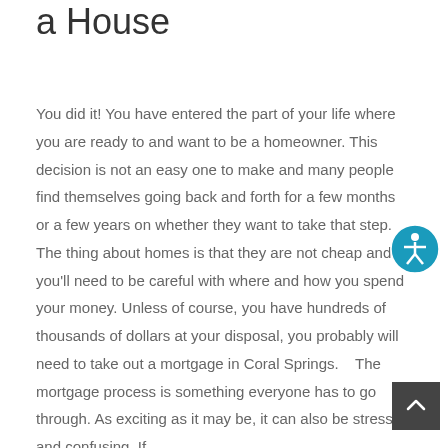Should Know Before Buying a House
You did it! You have entered the part of your life where you are ready to and want to be a homeowner. This decision is not an easy one to make and many people find themselves going back and forth for a few months or a few years on whether they want to take that step. The thing about homes is that they are not cheap and you'll need to be careful with where and how you spend your money. Unless of course, you have hundreds of thousands of dollars at your disposal, you probably will need to take out a mortgage in Coral Springs.    The mortgage process is something everyone has to go through. As exciting as it may be, it can also be stressful and confusing. If...